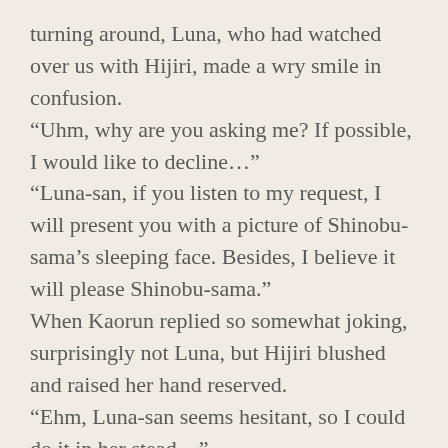turning around, Luna, who had watched over us with Hijiri, made a wry smile in confusion. “Uhm, why are you asking me? If possible, I would like to decline…” “Luna-san, if you listen to my request, I will present you with a picture of Shinobu-sama’s sleeping face. Besides, I believe it will please Shinobu-sama.” When Kaorun replied so somewhat joking, surprisingly not Luna, but Hijiri blushed and raised her hand reserved. “Ehm, Luna-san seems hesitant, so I could do it in her stead…” “Awww! Not fair, Hijiri-san! Please do not get on the